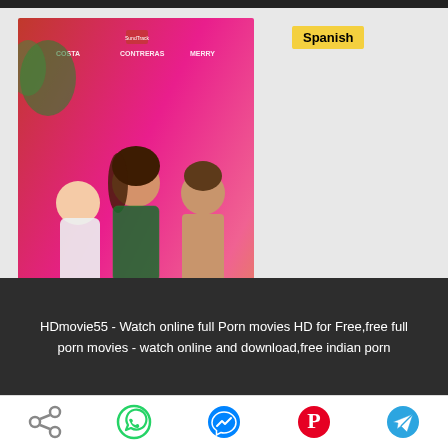[Figure (photo): Movie poster for Dry Martina (2018) showing three people — two women and a shirtless man — in a colorful scene with pink/red tones. Text on poster reads 'Dry Martina' and 'Che Sandoval'. A yellow badge reading 'Spanish' overlays the top right.]
Dry Martina (2018)
HDmovie55 - Watch online full Porn movies HD for Free,free full porn movies - watch online and download,free indian porn
[Figure (infographic): Social sharing icons bar with five icons: share (grey), WhatsApp (green), Messenger (blue), Pinterest (red), Telegram (blue)]